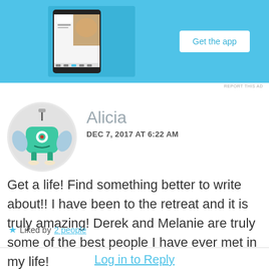[Figure (screenshot): App advertisement banner with phone mockup and 'Get the app' button on a light blue background]
REPORT THIS AD
[Figure (illustration): Avatar of a green cartoon robot/monster character in a circular frame]
Alicia
DEC 7, 2017 AT 6:22 AM
Get a life! Find something better to write about!! I have been to the retreat and it is truly amazing! Derek and Melanie are truly some of the best people I have ever met in my life!
★ Liked by 2 people
Log in to Reply